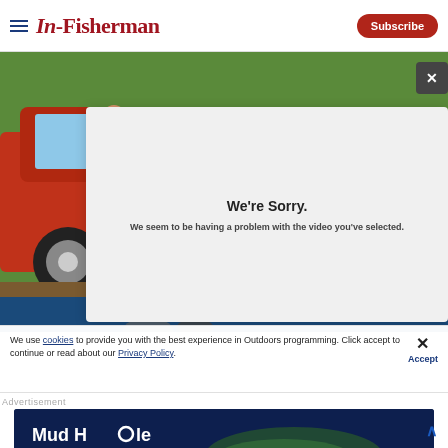In-Fisherman | Subscribe
[Figure (screenshot): Screenshot of In-Fisherman website showing a vintage red truck photo partially hidden by a video error overlay dialog. The dialog reads: 'We're Sorry. We seem to be having a problem with the video you've selected.' with an X close button.]
We're Sorry.
We seem to be having a problem with the video you've selected.
We use cookies to provide you with the best experience in Outdoors programming. Click accept to continue or read about our Privacy Policy.
Advertisement
[Figure (screenshot): Mud Hole rod building and tackle crafting advertisement banner with 'SHOP NOW' button on dark blue background with fish image]